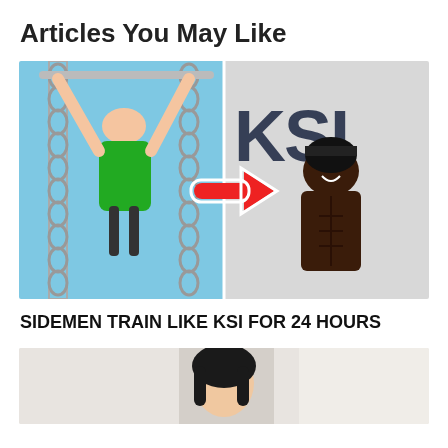Articles You May Like
[Figure (photo): Thumbnail image showing a man in green shirt doing pull-ups with chains on the left, and a muscular shirtless man (KSI) on the right with a red arrow pointing from left to right, KSI logo text in background]
SIDEMEN TRAIN LIKE KSI FOR 24 HOURS
[Figure (photo): Thumbnail image showing a woman with dark hair, partially visible, appears to be a wellness or fitness article]